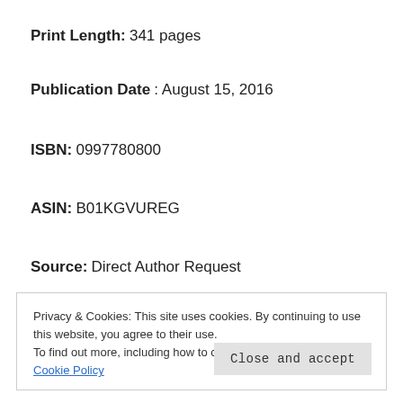Print Length: 341 pages
Publication Date: August 15, 2016
ISBN: 0997780800
ASIN: B01KGVUREG
Source: Direct Author Request
Privacy & Cookies: This site uses cookies. By continuing to use this website, you agree to their use. To find out more, including how to control cookies, see here: Cookie Policy
Close and accept